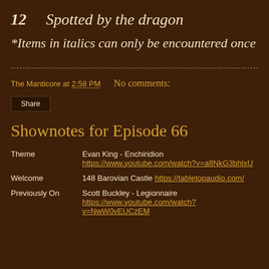12   Spotted by the dragon
*Items in italics can only be encountered once
The Manticore at 2:58 PM   No comments:
Share
Shownotes for Episode 66
| Category | Details |
| --- | --- |
| Theme | Evan King - Enchiridion https://www.youtube.com/watch?v=a8NkG3bhlxU |
| Welcome | 148 Barovian Castle https://tabletopaudio.com/ |
| Previously On | Scott Buckley - Legionnaire https://www.youtube.com/watch?v=NwW0vEUCzEM |